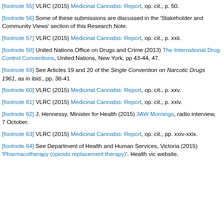[footnote 55] VLRC (2015) Medicinal Cannabis: Report, op. cit., p. 50.
[footnote 56] Some of these submissions are discussed in the 'Stakeholder and Community Views' section of this Research Note.
[footnote 57] VLRC (2015) Medicinal Cannabis: Report, op. cit., p. xxii.
[footnote 58] United Nations Office on Drugs and Crime (2013) The International Drug Control Conventions, United Nations, New York, pp 43-44, 47.
[footnote 59] See Articles 19 and 20 of the Single Convention on Narcotic Drugs 1961, as in ibid., pp. 38-41
[footnote 60] VLRC (2015) Medicinal Cannabis: Report, op. cit., p. xxv.
[footnote 61] VLRC (2015) Medicinal Cannabis: Report, op. cit., p. xxiv.
[footnote 62] J. Hennessy, Minister for Health (2015) 3AW Mornings, radio interview, 7 October.
[footnote 63] VLRC (2015) Medicinal Cannabis: Report, op. cit., pp. xxiv-xxix.
[footnote 64] See Department of Health and Human Services, Victoria (2015) 'Pharmacotherapy (opioids replacement therapy)'. Health vic website,